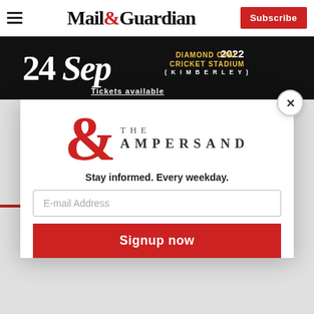Mail&Guardian | Subscribe
[Figure (photo): Advertisement banner: 24 Sep 2022 Diamond Oval Cricket Stadium (Kimberley) — Tickets available]
[Figure (infographic): Modal popup with The Ampersand logo, tagline 'Stay informed. Every weekday.', email address input, and Signup now button]
Stay informed. Every weekday.
E-mail Address
Signup now